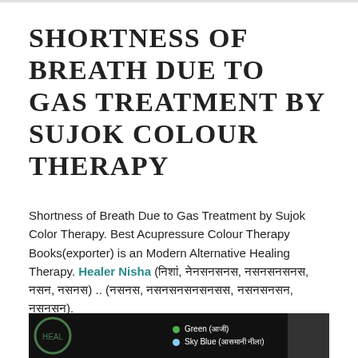SHORTNESS OF BREATH DUE TO GAS TREATMENT BY SUJOK COLOUR THERAPY
Shortness of Breath Due to Gas Treatment by Sujok Color Therapy. Best Acupressure Colour Therapy Books(exporter) is an Modern Alternative Healing Therapy. Healer Nisha (नि, नेनसनसनस, नसनसनसनस, नसन, नसनस) .. (नसनस, नसनसनसनसनसस, नसनसनसन, नसनसन).
[Figure (screenshot): Dark background image strip showing a logo on the left and a legend with Green and Sky Blue colored dots with text labels on the right portion]